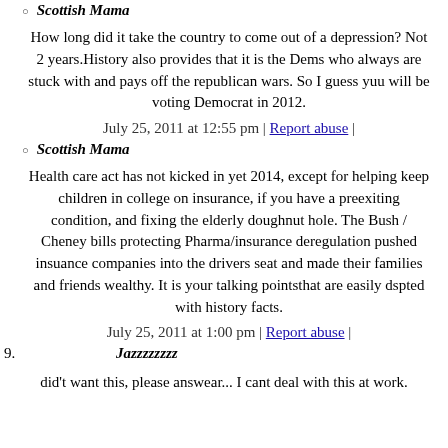Scottish Mama
How long did it take the country to come out of a depression? Not 2 years.History also provides that it is the Dems who always are stuck with and pays off the republican wars. So I guess yuu will be voting Democrat in 2012.
July 25, 2011 at 12:55 pm | Report abuse |
Scottish Mama
Health care act has not kicked in yet 2014, except for helping keep children in college on insurance, if you have a preexiting condition, and fixing the elderly doughnut hole. The Bush / Cheney bills protecting Pharma/insurance deregulation pushed insuance companies into the drivers seat and made their families and friends wealthy. It is your talking pointsthat are easily dspted with history facts.
July 25, 2011 at 1:00 pm | Report abuse |
Jazzzzzzzz
did't want this, please answear... I cant deal with this at work.